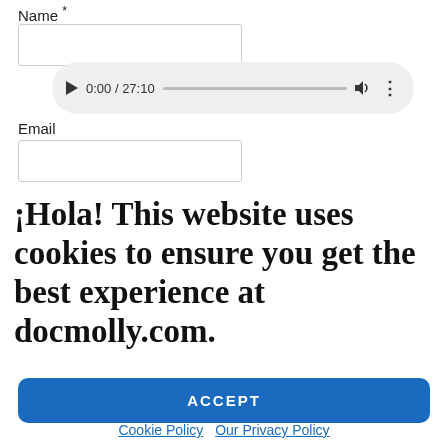Name *
[Figure (screenshot): Audio player showing 0:00 / 27:10 with play button, progress bar, volume and more icons]
Email
¡Hola! This website uses cookies to ensure you get the best experience at docmolly.com.
ACCEPT
Cookie Policy  Our Privacy Policy